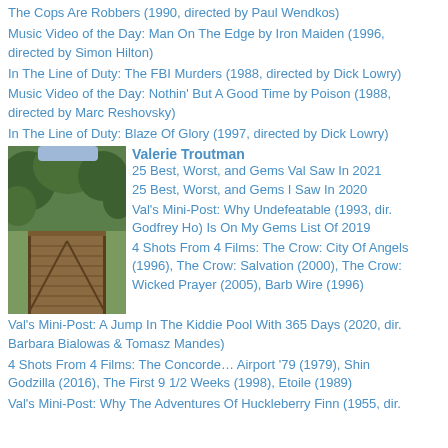The Cops Are Robbers (1990, directed by Paul Wendkos)
Music Video of the Day: Man On The Edge by Iron Maiden (1996, directed by Simon Hilton)
In The Line of Duty: The FBI Murders (1988, directed by Dick Lowry)
Music Video of the Day: Nothin' But A Good Time by Poison (1988, directed by Marc Reshovsky)
In The Line of Duty: Blaze Of Glory (1997, directed by Dick Lowry)
[Figure (photo): Outdoor photo showing a wooden deck/walkway leading toward a forested area with trees in the background]
Valerie Troutman
25 Best, Worst, and Gems Val Saw In 2021
25 Best, Worst, and Gems I Saw In 2020
Val's Mini-Post: Why Undefeatable (1993, dir. Godfrey Ho) Is On My Gems List Of 2019
4 Shots From 4 Films: The Crow: City Of Angels (1996), The Crow: Salvation (2000), The Crow: Wicked Prayer (2005), Barb Wire (1996)
Val's Mini-Post: A Jump In The Kiddie Pool With 365 Days (2020, dir. Barbara Bialowas & Tomasz Mandes)
4 Shots From 4 Films: The Concorde… Airport '79 (1979), Shin Godzilla (2016), The First 9 1/2 Weeks (1998), Etoile (1989)
Val's Mini-Post: Why The Adventures Of Huckleberry Finn (1955, dir.